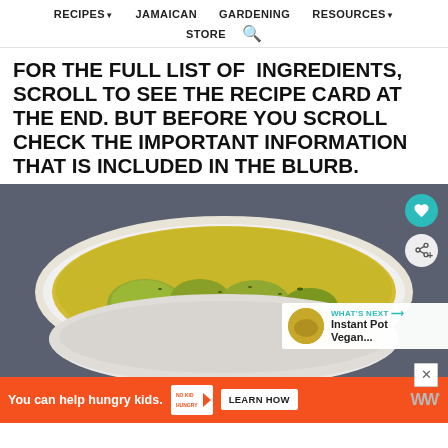RECIPES▼  JAMAICAN  GARDENING  RESOURCES▼  STORE  🔍
FOR THE FULL LIST OF  INGREDIENTS, SCROLL TO SEE THE RECIPE CARD AT THE END. BUT BEFORE YOU SCROLL CHECK THE IMPORTANT INFORMATION THAT IS INCLUDED IN THE BLURB.
[Figure (photo): A white bowl of yellow curry soup with dumplings/vegetables garnished with herbs and red peppers, on a grey fabric background. Heart and share buttons overlay the top-right. A 'WHAT'S NEXT → Instant Pot Vegan...' thumbnail overlay appears at bottom-right.]
You can help hungry kids.  NO KID HUNGRY  LEARN HOW